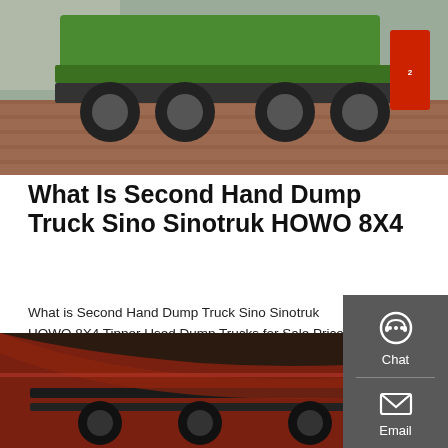[Figure (photo): Photo of a green/yellow flatbed semi-trailer truck parked on brick pavement, front-low angle view showing undercarriage and wheels, with a red sign partially visible on the right]
What Is Second Hand Dump Truck Sino Sinotruk HOWO 8X4
What is Second Hand Dump Truck Sino Sinotruk HOWO 8X4 Tipper Used Dump Trucks for Sale Price, 8x4 manufacturers & suppliers on Video Channel of Made-in-China.com.
[Figure (infographic): Grey sidebar panel with Chat (headset icon), Email (envelope icon), and Contact (speech bubble icon) buttons]
GET A QUOTE
[Figure (photo): Close-up photo of the underside/rear axle area of a red dump truck showing suspension components and chassis details]